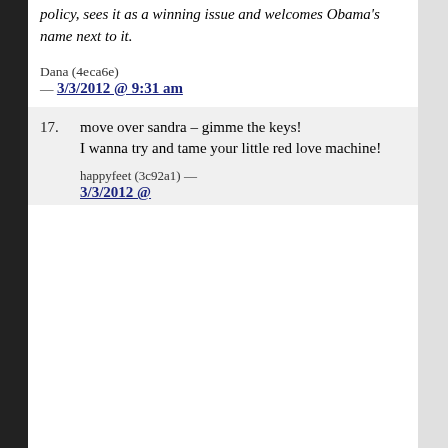policy, sees it as a winning issue and welcomes Obama's name next to it.
Dana (4еса6е) — 3/3/2012 @ 9:31 am
17. move over sandra – gimme the keys!

I wanna try and tame your little red love machine!

happyfeet (3c92a1) — 3/3/2012 @